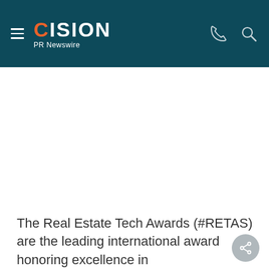CISION PR Newswire
[Figure (other): Large white/blank content area below the header, likely an image or advertisement placeholder]
The Real Estate Tech Awards (#RETAS) are the leading international award honoring excellence in